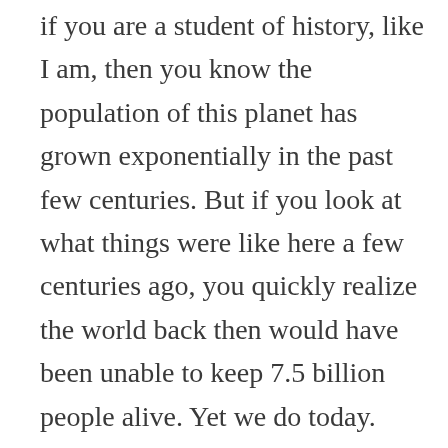if you are a student of history, like I am, then you know the population of this planet has grown exponentially in the past few centuries. But if you look at what things were like here a few centuries ago, you quickly realize the world back then would have been unable to keep 7.5 billion people alive. Yet we do today. And I have seen plenty of studies which show there is more than enough resources to feed everyone (even if the future is unsure.) And that there is far less people in extreme poverty today than there were in the past, in spite of the population growth. (Most of those still trapped in poverty are there because of lack of education, opportunity, access to world markets, etc., which, I know, you are one of those working to see that changed.) So